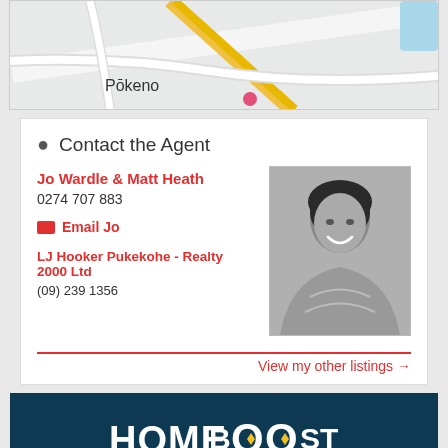[Figure (map): Map showing Pōkeno area with roads and terrain]
Contact the Agent
Jo Wardle & Matt Heath
0274 707 883
Email Jo
LJ Hooker Pukekohe - Realty 2000 Ltd
(09) 239 1356
[Figure (photo): Black and white portrait photo of a smiling woman with short dark hair]
View my other listings →
[Figure (logo): HomeBOOST Mortgages NZ logo on dark blue background]
Best Home Loan Rate